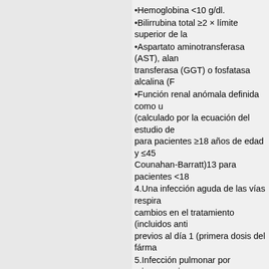•Hemoglobina <10 g/dl.
•Bilirrubina total ≥2 × límite superior de la
•Aspartato aminotransferasa (AST), alan transferasa (GGT) o fosfatasa alcalina (F
•Función renal anómala definida como u (calculado por la ecuación del estudio de para pacientes ≥18 años de edad y ≤45 Counahan-Barratt)13 para pacientes <18
4.Una infección aguda de las vías respira cambios en el tratamiento (incluidos anti previos al día 1 (primera dosis del fárma
5.Infección pulmonar por microorganism pulmonar (incluidos, entre otros, Burkho Mycobacterium abscessus). En el caso d investigador aplicará los siguientes criter por dichos microorganismos:
•El paciente no ha tenido un cultivo posit microorganismos en los 12 meses anteri
•El paciente ha tenido al menos 2 cultivo microorganismos en los 12 meses anteri primero y el último de ellos separados po